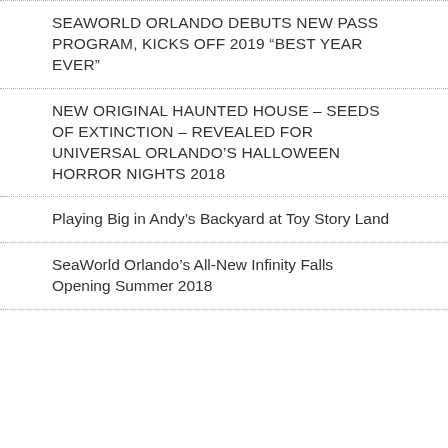SEAWORLD ORLANDO DEBUTS NEW PASS PROGRAM, KICKS OFF 2019 “BEST YEAR EVER”
NEW ORIGINAL HAUNTED HOUSE – SEEDS OF EXTINCTION – REVEALED FOR UNIVERSAL ORLANDO’S HALLOWEEN HORROR NIGHTS 2018
Playing Big in Andy’s Backyard at Toy Story Land
SeaWorld Orlando’s All-New Infinity Falls Opening Summer 2018